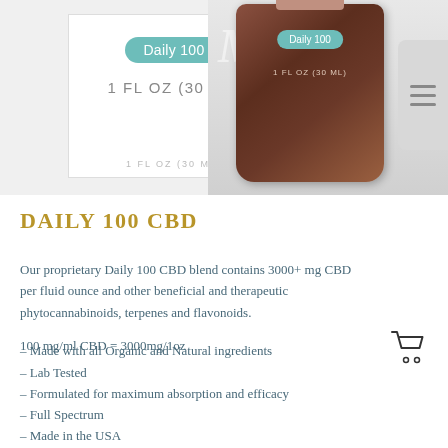[Figure (photo): Two CBD product images: left shows a white box with 'Daily 100' teal badge and '1 FL OZ (30 ML)' text; right shows a dark brown glass bottle with 'Daily 100' teal badge and '1 FL OZ (30 ML)' text, with a gray menu panel on the far right.]
DAILY 100 CBD
Our proprietary Daily 100 CBD blend contains 3000+ mg CBD per fluid ounce and other beneficial and therapeutic phytocannabinoids, terpenes and flavonoids.
100 mg/ml CBD = 3000mg/1oz
– Made with all Organic and Natural ingredients
– Lab Tested
– Formulated for maximum absorption and efficacy
– Full Spectrum
– Made in the USA
– Sugar Free
– Wheat Free
– Vegan Friendly
– Less than .3% THC